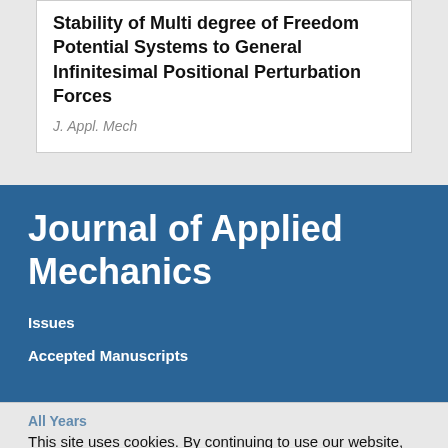Stability of Multi degree of Freedom Potential Systems to General Infinitesimal Positional Perturbation Forces
J. Appl. Mech
Journal of Applied Mechanics
Issues
Accepted Manuscripts
All Years
This site uses cookies. By continuing to use our website, you are agreeing to our privacy policy. Accept